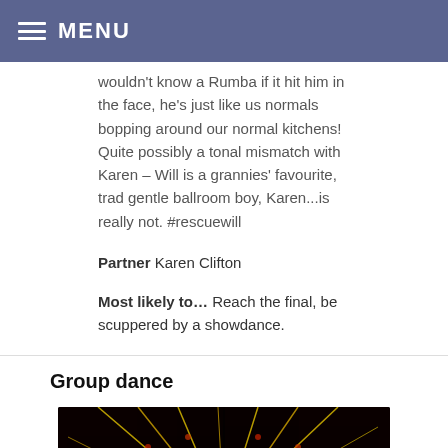MENU
wouldn't know a Rumba if it hit him in the face, he's just like us normals bopping around our normal kitchens! Quite possibly a tonal mismatch with Karen – Will is a grannies' favourite, trad gentle ballroom boy, Karen...is really not. #rescuewill
Partner Karen Clifton
Most likely to... Reach the final, be scuppered by a showdance.
Group dance
[Figure (photo): Performance photo showing dancers with colorful red and yellow stage lighting in concentric arc patterns against a dark background]